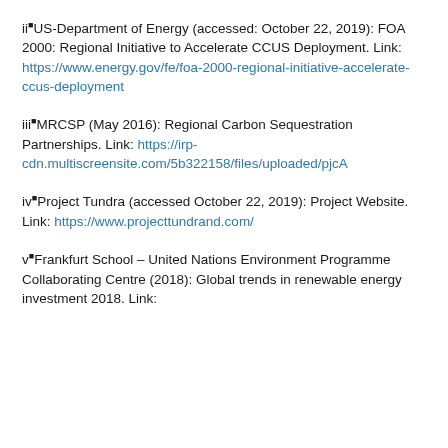ii US-Department of Energy (accessed: October 22, 2019): FOA 2000: Regional Initiative to Accelerate CCUS Deployment. Link: https://www.energy.gov/fe/foa-2000-regional-initiative-accelerate-ccus-deployment
iii MRCSP (May 2016): Regional Carbon Sequestration Partnerships. Link: https://irp-cdn.multiscreensite.com/5b322158/files/uploaded/pjcA
iv Project Tundra (accessed October 22, 2019): Project Website. Link: https://www.projecttundrand.com/
v Frankfurt School – United Nations Environment Programme Collaborating Centre (2018): Global trends in renewable energy investment 2018. Link: